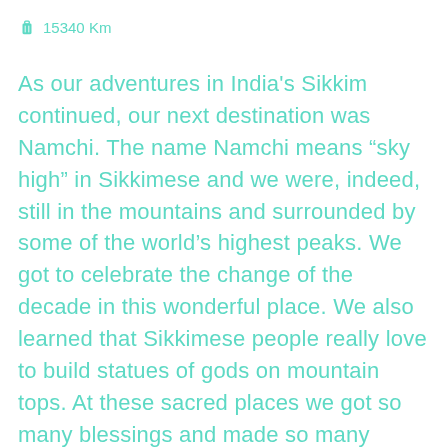15340 Km
As our adventures in India's Sikkim continued, our next destination was Namchi. The name Namchi means “sky high” in Sikkimese and we were, indeed, still in the mountains and surrounded by some of the world’s highest peaks. We got to celebrate the change of the decade in this wonderful place. We also learned that Sikkimese people really love to build statues of gods on mountain tops. At these sacred places we got so many blessings and made so many wishes, that the new decade can’t be anything but awesome.